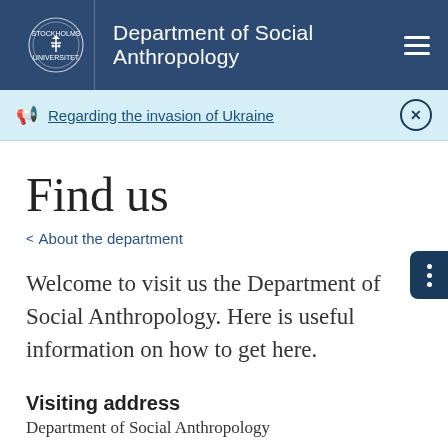Department of Social Anthropology
Regarding the invasion of Ukraine
Find us
< About the department
Welcome to visit us the Department of Social Anthropology. Here is useful information on how to get here.
Visiting address
Department of Social Anthropology